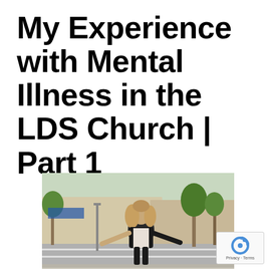My Experience with Mental Illness in the LDS Church | Part 1
[Figure (photo): A young woman with long curly hair wearing a dark jacket over a patterned white top, standing outdoors on a sidewalk near a road, with trees and a commercial building in the background.]